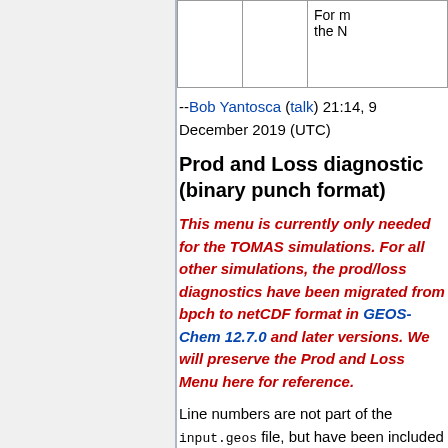|  |  | For m the N |
--Bob Yantosca (talk) 21:14, 9 December 2019 (UTC)
Prod and Loss diagnostic (binary punch format)
This menu is currently only needed for the TOMAS simulations. For all other simulations, the prod/loss diagnostics have been migrated from bpch to netCDF format in GEOS-Chem 12.7.0 and later versions. We will preserve the Prod and Loss Menu here for reference.
Line numbers are not part of the input.geos file, but have been included for reference.